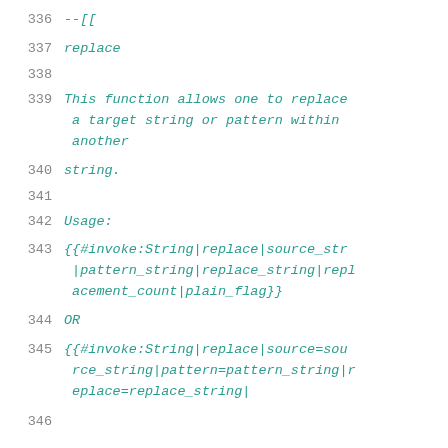336  --[[
337  replace
338
339  This function allows one to replace a target string or pattern within another
340  string.
341
342  Usage:
343  {{#invoke:String|replace|source_str|pattern_string|replace_string|replacement_count|plain_flag}}
344  OR
345  {{#invoke:String|replace|source=source_string|pattern=pattern_string|replace=replace_string|
346